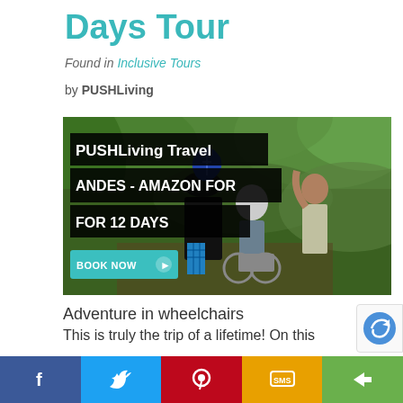Days Tour
Found in Inclusive Tours
by PUSHLiving
[Figure (photo): Promotional photo for PUSHLiving Travel Andes - Amazon For 12 Days tour showing people in a jungle path, one person in a wheelchair being pushed, with overlay text 'PUSHLiving Travel ANDES - AMAZON FOR FOR 12 DAYS' and a 'BOOK NOW' button]
Adventure in wheelchairs
This is truly the trip of a lifetime! On this